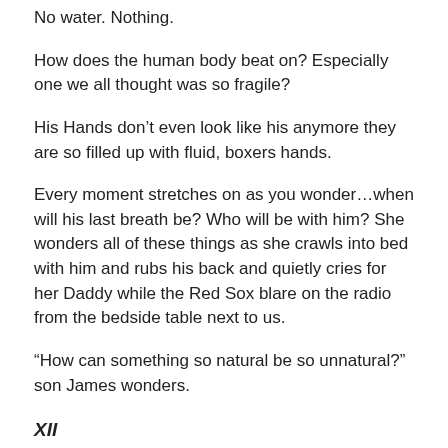No water.  Nothing.
How does the human body beat on?  Especially one we all thought was so fragile?
His Hands don’t even look like his anymore they are so filled up with fluid,  boxers hands.
Every moment stretches on as you wonder…when will his last breath be?  Who will be with him?  She wonders all of these things as she crawls into bed with him and rubs his back and quietly cries for her Daddy while the Red Sox blare on the radio from the bedside table next to us.
“How can something so natural be so unnatural?”  son James wonders.
XII